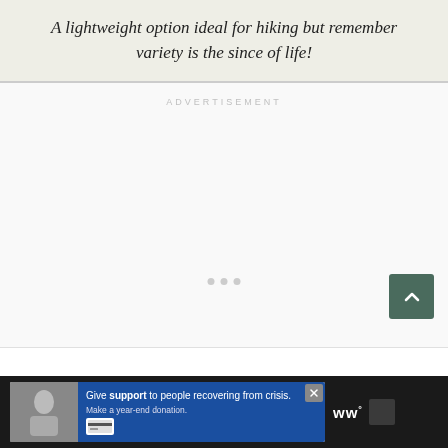A lightweight option ideal for hiking but remember variety is the since of life!
[Figure (other): Advertisement placeholder section with 'ADVERTISEMENT' label, three loading dots, and a scroll-to-top button (dark green square with upward chevron)]
[Figure (other): Bottom bar advertisement banner: photo of people on left, blue background with text 'Give support to people recovering from crisis. Make a year-end donation.' and a credit card icon. Close button top-right. Right side shows stylized 'ww°' logo and dark box.]